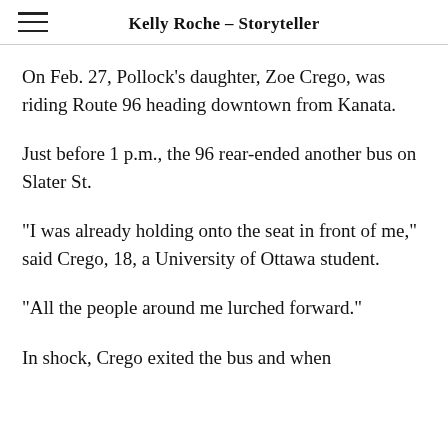Kelly Roche – Storyteller
On Feb. 27, Pollock's daughter, Zoe Crego, was riding Route 96 heading downtown from Kanata.
Just before 1 p.m., the 96 rear-ended another bus on Slater St.
“I was already holding onto the seat in front of me,” said Crego, 18, a University of Ottawa student.
“All the people around me lurched forward.”
In shock, Crego exited the bus and when